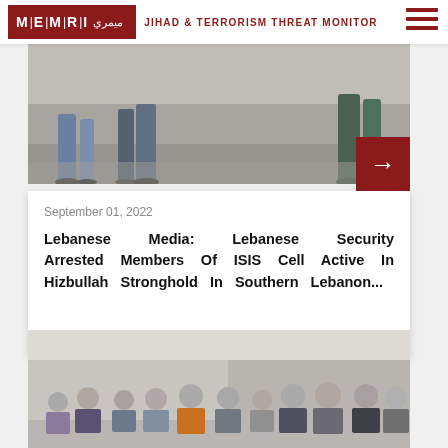MEMRI | JIHAD & TERRORISM THREAT MONITOR
[Figure (photo): Partial photo showing lower bodies of people standing outdoors, cropped at top]
September 01, 2022
Lebanese Media: Lebanese Security Arrested Members Of ISIS Cell Active In Hizbullah Stronghold In Southern Lebanon...
[Figure (photo): Group of children with blurred/pixelated faces sitting on the floor indoors]